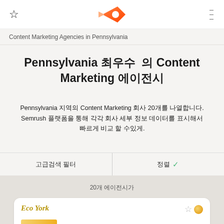☆  [logo]  ≡
Content Marketing Agencies in Pennsylvania
Pennsylvania 최우수 Content Marketing 에이전시
Pennsylvania 지역의 Content Marketing 회사 20개를 나열합니다. Semrush 플랫폼을 통해 각각 회사 세부 정보 데이터를 표시해서 빠르게 비교 할 수있게.
고급검색 필터 | 정렬 ✓
20개 에이전시가
Eco York